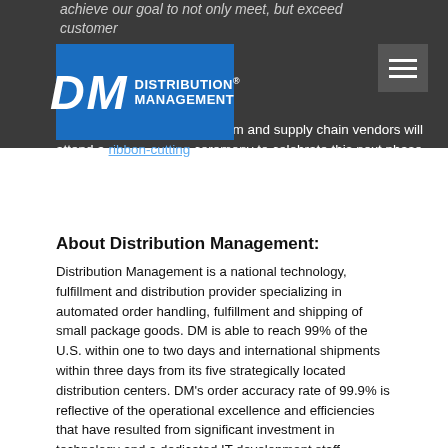achieve our goal to not only meet, but exceed customer
[Figure (logo): Distribution Management logo — blue rectangle with white italic DM letters and white text reading DISTRIBUTION MANAGEMENT with registered trademark symbol]
on opening, the executive team and supply chain vendors will attend a ribbon-cutting ceremony to celebrate this next phase of expansion and growth of Distribution Management.
About Distribution Management:
Distribution Management is a national technology, fulfillment and distribution provider specializing in automated order handling, fulfillment and shipping of small package goods. DM is able to reach 99% of the U.S. within one to two days and international shipments within three days from its five strategically located distribution centers. DM's order accuracy rate of 99.9% is reflective of the operational excellence and efficiencies that have resulted from significant investment in technology and a dedicated IT development staff specializing in integration, automation and real-time reporting. The company operates Supplies